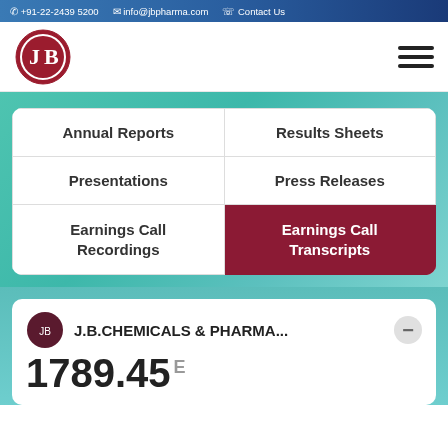+91-22-2439 5200  info@jbpharma.com  Contact Us
[Figure (logo): JB Pharma logo - red circle with JB letters in white, and hamburger menu icon]
| Annual Reports | Results Sheets |
| Presentations | Press Releases |
| Earnings Call Recordings | Earnings Call Transcripts |
J.B.CHEMICALS & PHARMA...
1789.45 E